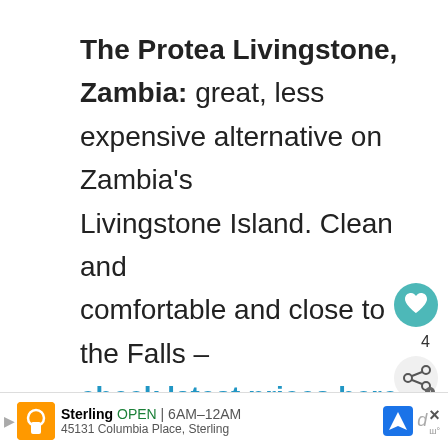The Protea Livingstone, Zambia: great, less expensive alternative on Zambia's Livingstone Island. Clean and comfortable and close to the Falls – check latest prices here!
Victoria Falls Safari Club, Zimbabwe: one of the best on the Zimbabwe side, some rooms
[Figure (screenshot): Heart/like button (teal circle with heart icon) showing count 4, and a share button below it]
[Figure (screenshot): What's Next promotional widget: thumbnail image with 'Devil's Pool Adventures:...' label]
[Figure (screenshot): Advertisement bar at bottom: Sterling restaurant, OPEN 6AM-12AM, 45131 Columbia Place, Sterling]